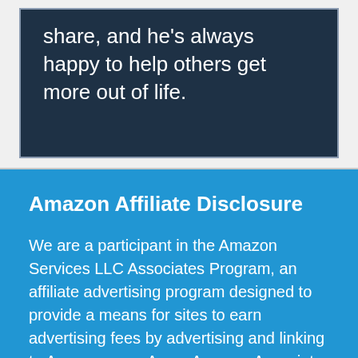share, and he's always happy to help others get more out of life.
Amazon Affiliate Disclosure
We are a participant in the Amazon Services LLC Associates Program, an affiliate advertising program designed to provide a means for sites to earn advertising fees by advertising and linking to Amazon.com. As an Amazon Associate